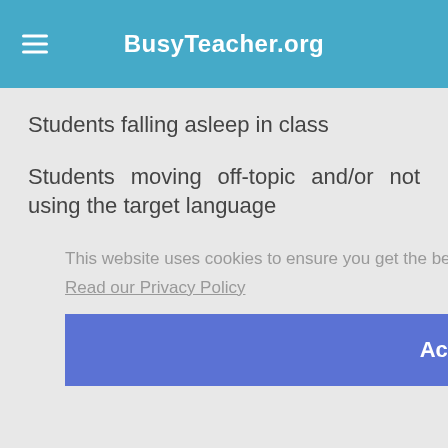BusyTeacher.org
Students falling asleep in class
Students moving off-topic and/or not using the target language
Students flirting in class
This website uses cookies to ensure you get the best experience on our website. Read our Privacy Policy
Accept!